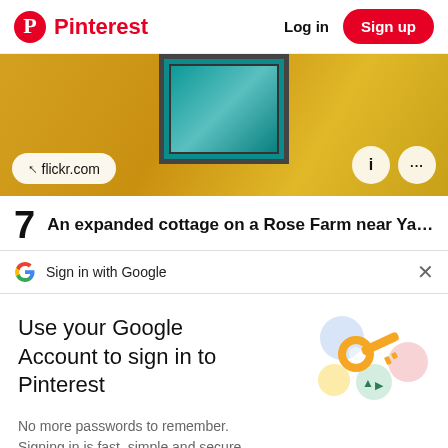Pinterest  Log in  Sign up
[Figure (photo): Photo of a teal/turquoise painted door on a yellow textured wall with flickr.com attribution pill]
7  An expanded cottage on a Rose Farm near Yass
Sign in with Google
Use your Google Account to sign in to Pinterest
No more passwords to remember. Signing in is fast, simple and secure.
[Figure (illustration): Google key illustration with colorful circles]
Continue